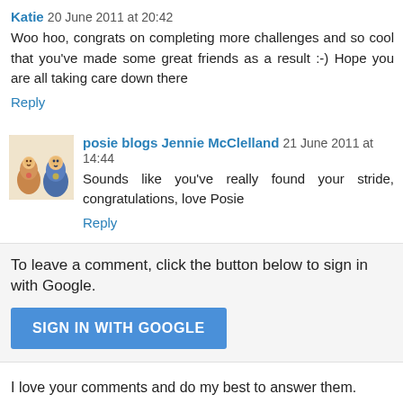Katie 20 June 2011 at 20:42
Woo hoo, congrats on completing more challenges and so cool that you've made some great friends as a result :-) Hope you are all taking care down there
Reply
posie blogs Jennie McClelland 21 June 2011 at 14:44
Sounds like you've really found your stride, congratulations, love Posie
Reply
To leave a comment, click the button below to sign in with Google.
SIGN IN WITH GOOGLE
I love your comments and do my best to answer them.